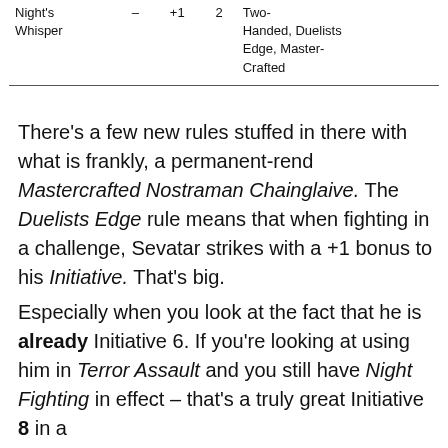| Weapon | Range | Bonus | Init | Special Rules |
| --- | --- | --- | --- | --- |
| Night's Whisper | – | +1 | 2 | Two-Handed, Duelists Edge, Master-Crafted |
There's a few new rules stuffed in there with what is frankly, a permanent-rend Mastercrafted Nostraman Chainglaive. The Duelists Edge rule means that when fighting in a challenge, Sevatar strikes with a +1 bonus to his Initiative. That's big.
Especially when you look at the fact that he is already Initiative 6. If you're looking at using him in Terror Assault and you still have Night Fighting in effect – that's a truly great Initiative 8 in a